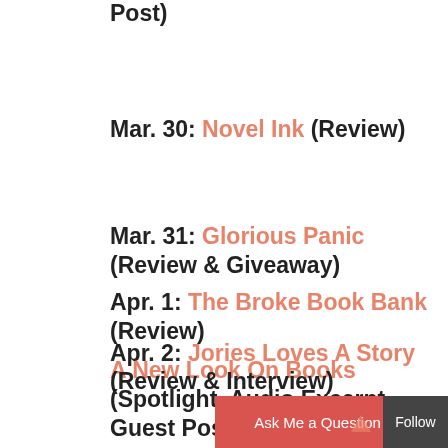Post)
Mar. 30: Novel Ink (Review)
Mar. 31: Glorious Panic (Review & Giveaway)
Apr. 1: The Broke Book Bank (Review)
A New Look On Books (Spotlight, Audio Excerpt, Guest Post & Giveaway)
Apr. 2: Jories Loves A Story (Review & Interview)